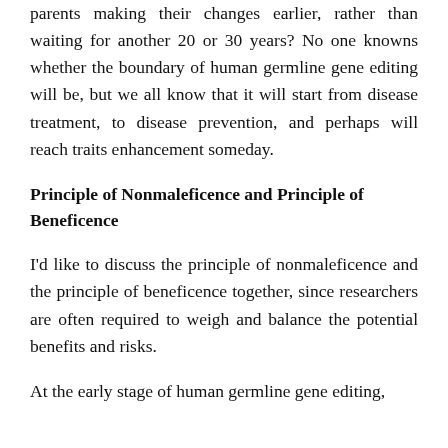parents making their changes earlier, rather than waiting for another 20 or 30 years? No one knowns whether the boundary of human germline gene editing will be, but we all know that it will start from disease treatment, to disease prevention, and perhaps will reach traits enhancement someday.
Principle of Nonmaleficence and Principle of Beneficence
I'd like to discuss the principle of nonmaleficence and the principle of beneficence together, since researchers are often required to weigh and balance the potential benefits and risks.
At the early stage of human germline gene editing,